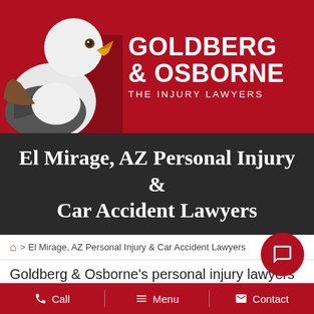[Figure (logo): Goldberg & Osborne law firm logo featuring a bald eagle on a red background with white text reading GOLDBERG & OSBORNE THE INJURY LAWYERS]
El Mirage, AZ Personal Injury & Car Accident Lawyers
🏠 > El Mirage, AZ Personal Injury & Car Accident Lawyers
Goldberg & Osborne's personal injury lawyers will handle your personal injury claim with diligence and professionalism. It is your decision to meet with a lawyer who can advocate for your best interests. The insurance company is not trying to help you achieve justice and
Call   Menu   Contact